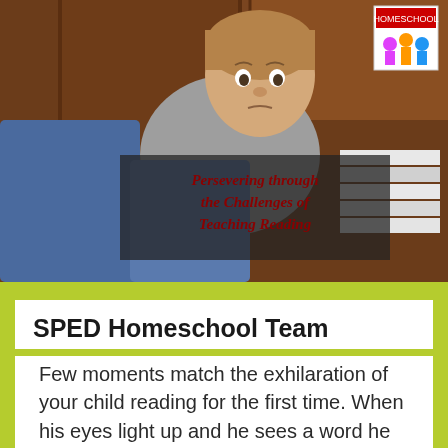[Figure (photo): A young boy with a frustrated expression sitting against a wooden headboard, with books stacked behind him. Text overlay reads 'Persevering through the Challenges of Teaching Reading'. A logo with colorful figure icons appears in the top-right corner.]
SPED Homeschool Team
Few moments match the exhilaration of your child reading for the first time. When his eyes light up and he sees a word he can